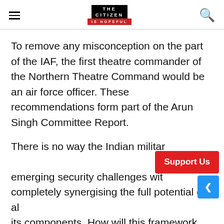THE CITIZEN IS HOPEFUL
To remove any misconception on the part of the IAF, the first theatre commander of the Northern Theatre Command would be an air force officer. These recommendations form part of the Arun Singh Committee Report.
There is no way the Indian military can meet emerging security challenges with completely synergising the full potential of all its components. How will this framework work where the CDS is a Secretary in the Ministry of Defence, and the Defence Secretary is